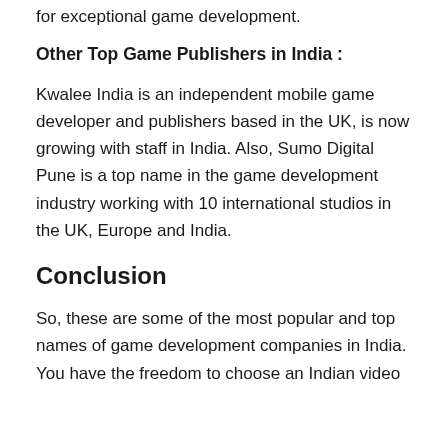for exceptional game development.
Other Top Game Publishers in India :
Kwalee India is an independent mobile game developer and publishers based in the UK, is now growing with staff in India. Also, Sumo Digital Pune is a top name in the game development industry working with 10 international studios in the UK, Europe and India.
Conclusion
So, these are some of the most popular and top names of game development companies in India. You have the freedom to choose an Indian video